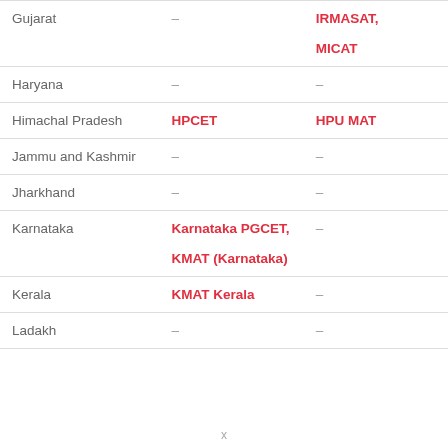| Gujarat | – | IRMASAT, MICAT |
| Haryana | – | – |
| Himachal Pradesh | HPCET | HPU MAT |
| Jammu and Kashmir | – | – |
| Jharkhand | – | – |
| Karnataka | Karnataka PGCET, KMAT (Karnataka) | – |
| Kerala | KMAT Kerala | – |
| Ladakh | – | – |
x